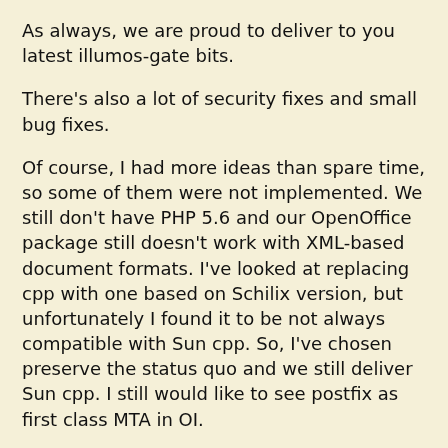As always, we are proud to deliver to you latest illumos-gate bits.
There's also a lot of security fixes and small bug fixes.
Of course, I had more ideas than spare time, so some of them were not implemented. We still don't have PHP 5.6 and our OpenOffice package still doesn't work with XML-based document formats. I've looked at replacing cpp with one based on Schilix version, but unfortunately I found it to be not always compatible with Sun cpp. So, I've chosen preserve the status quo and we still deliver Sun cpp. I still would like to see postfix as first class MTA in OI.
I'd like to share some more ideas, which attract me now. First of all, we consider further updating of Xorg and other former xnv components (libXfont, freetype). GCC update is also on the roadmap. Our old samba and cups versions, dependency on python 2.6 and ageing Perl 5.16 make me sad.  Of course, I'd like to see PHP 5.6 in oi-userland and perhaps even look at bl...